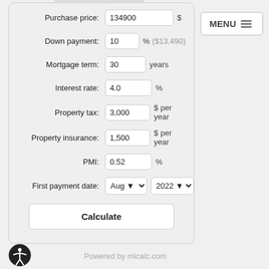MENU
Purchase price: 134900 $
Down payment: 10 % ($13,490)
Mortgage term: 30 years
Interest rate: 4.0 %
Property tax: 3,000 $ per year
Property insurance: 1,500 $ per year
PMI: 0.52 %
First payment date: Aug 2022
Calculate
Powered by mlcalc.com